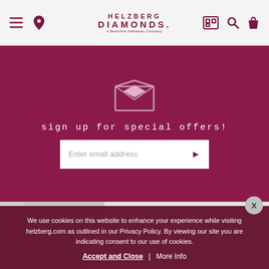Helzberg Diamonds navigation header with menu, location, logo, camera, search, and bag icons
[Figure (illustration): White/pink open envelope icon on maroon background]
sign up for special offers!
[Figure (screenshot): Email input field with placeholder 'Enter email address' and arrow button]
We use cookies on this website to enhance your experience while visiting helzberg.com as outlined in our Privacy Policy. By viewing our site you are indicating consent to our use of cookies.
Accept and Close | More Info